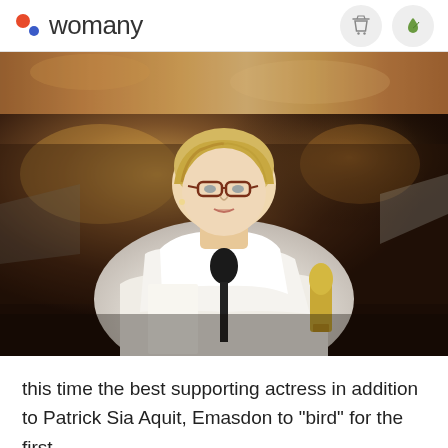womany
[Figure (photo): Partial photo strip at top showing blurred figures in warm tones, cropped]
[Figure (photo): Woman with blonde updo hair and glasses wearing white gown, holding an Oscar statuette at a podium with microphone, accepting an award at the Academy Awards ceremony]
this time the best supporting actress in addition to Patrick Sia Aquit, Emasdon to "bird" for the first